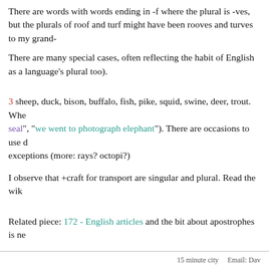There are words with words ending in -f where the plural is -ves, but the plurals of roof and turf might have been rooves and turves to my grand-
There are many special cases, often reflecting the habit of English as a language's plural too).
3 sheep, duck, bison, buffalo, fish, pike, squid, swine, deer, trout. When seal", "we went to photograph elephant"). There are occasions to use du exceptions (more: rays? octopi?)
I observe that +craft for transport are singular and plural. Read the wiki
Related piece: 172 - English articles and the bit about apostrophes is ne
15 minute city    Email: Dav